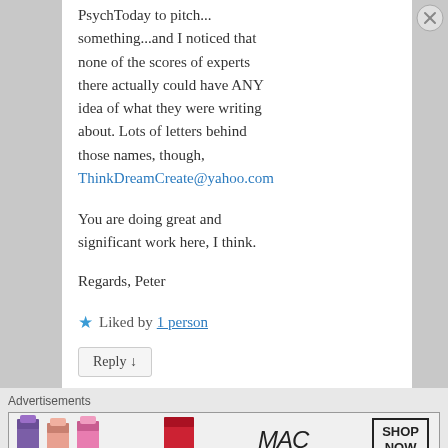PsychToday to pitch...something...and I noticed that none of the scores of experts there actually could have ANY idea of what they were writing about. Lots of letters behind those names, though, ThinkDreamCreate@yahoo.com
You are doing great and significant work here, I think.
Regards, Peter
★ Liked by 1 person
Reply ↓
Advertisements
[Figure (photo): MAC cosmetics advertisement banner showing colorful lipsticks, MAC logo, and SHOP NOW button]